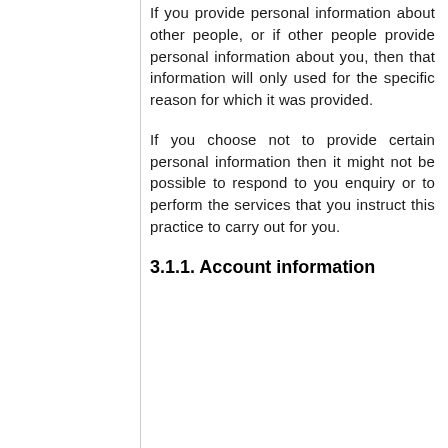If you provide personal information about other people, or if other people provide personal information about you, then that information will only used for the specific reason for which it was provided.
If you choose not to provide certain personal information then it might not be possible to respond to you enquiry or to perform the services that you instruct this practice to carry out for you.
3.1.1. Account information